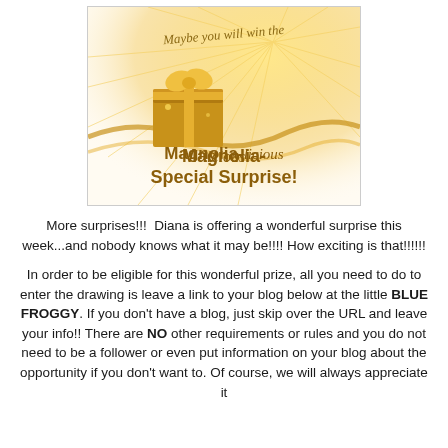[Figure (illustration): Promotional graphic with gold/orange burst design, a gift box, and text reading 'Maybe you will win the Magnolia-licious Special Surprise!']
More surprises!!!  Diana is offering a wonderful surprise this week...and nobody knows what it may be!!!! How exciting is that!!!!!!
In order to be eligible for this wonderful prize, all you need to do to enter the drawing is leave a link to your blog below at the little BLUE FROGGY. If you don't have a blog, just skip over the URL and leave your info!! There are NO other requirements or rules and you do not need to be a follower or even put information on your blog about the opportunity if you don't want to. Of course, we will always appreciate it